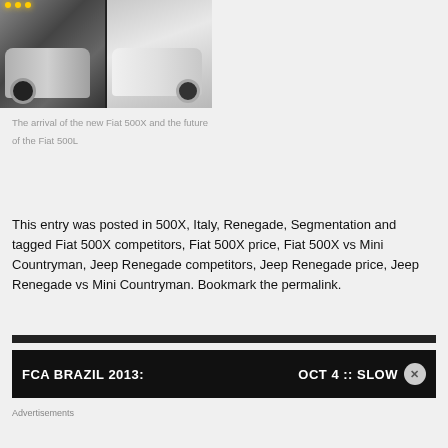[Figure (photo): Two Fiat vehicles side by side: left shows a dark/silver Fiat 500X from front-side angle in dark studio lighting; right shows a light/cream Fiat 500L in lighter studio setting]
The arrival of the new Fiat 500X and the future of the Fiat 500L
This entry was posted in 500X, Italy, Renegade, Segmentation and tagged Fiat 500X competitors, Fiat 500X price, Fiat 500X vs Mini Countryman, Jeep Renegade competitors, Jeep Renegade price, Jeep Renegade vs Mini Countryman. Bookmark the permalink.
[Figure (screenshot): Black banner bar showing 'FCA BRAZIL 2013:' on the left and 'OCT 4 :: SLOW' on the right with a close/dismiss button]
Advertisements